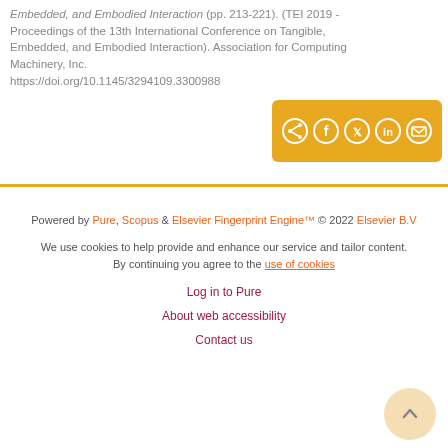Embedded, and Embodied Interaction (pp. 213-221). (TEI 2019 - Proceedings of the 13th International Conference on Tangible, Embedded, and Embodied Interaction). Association for Computing Machinery, Inc. https://doi.org/10.1145/3294109.3300988
[Figure (other): Share button bar with golden/orange background containing icons for share, Facebook, Twitter, LinkedIn, and email]
Powered by Pure, Scopus & Elsevier Fingerprint Engine™ © 2022 Elsevier B.V
We use cookies to help provide and enhance our service and tailor content. By continuing you agree to the use of cookies
Log in to Pure
About web accessibility
Contact us